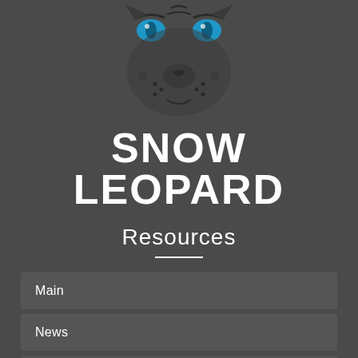[Figure (logo): Snow leopard face illustration with blue eyes and dark markings on grey background]
SNOW LEOPARD
Resources
Main
News
Services
About us